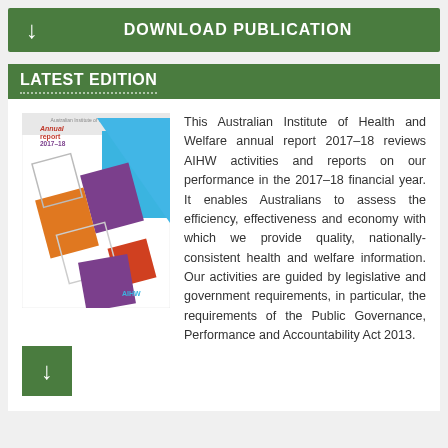DOWNLOAD PUBLICATION
LATEST EDITION
[Figure (illustration): Cover of the AIHW Annual Report 2017-18 with geometric diamond/rhombus shapes in blue, purple, orange, red and white on a white background, with a green download button overlay at the bottom left]
This Australian Institute of Health and Welfare annual report 2017–18 reviews AIHW activities and reports on our performance in the 2017–18 financial year. It enables Australians to assess the efficiency, effectiveness and economy with which we provide quality, nationally-consistent health and welfare information. Our activities are guided by legislative and government requirements, in particular, the requirements of the Public Governance, Performance and Accountability Act 2013.